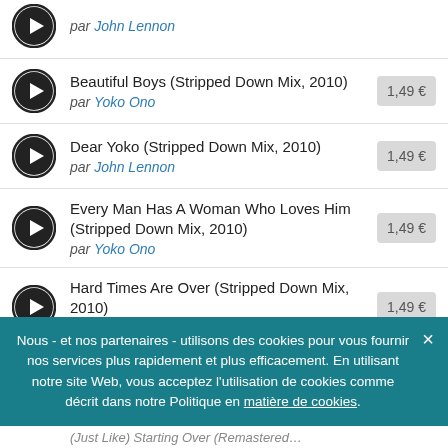Beautiful Boys (Stripped Down Mix, 2010) par Yoko Ono — 1,49 €
Dear Yoko (Stripped Down Mix, 2010) par John Lennon — 1,49 €
Every Man Has A Woman Who Loves Him (Stripped Down Mix, 2010) par Yoko Ono — 1,49 €
Hard Times Are Over (Stripped Down Mix, 2010) par Yoko Ono — 1,49 €
Nous - et nos partenaires - utilisons des cookies pour vous fournir nos services plus rapidement et plus efficacement. En utilisant notre site Web, vous acceptez l'utilisation de cookies comme décrit dans notre Politique en matière de cookies.